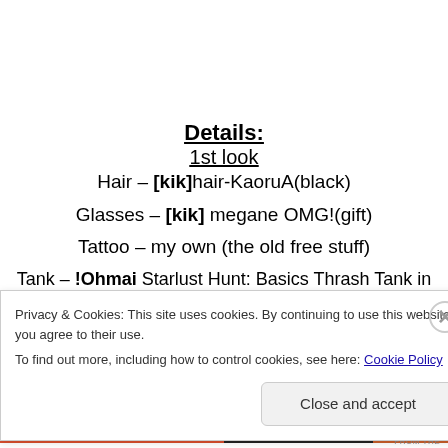Details:
1st look
Hair – [kik]hair-KaoruA(black)
Glasses – [kik] megane OMG!(gift)
Tattoo – my own (the old free stuff)
Tank – !Ohmai Starlust Hunt: Basics Thrash Tank in Pitch
Privacy & Cookies: This site uses cookies. By continuing to use this website, you agree to their use.
To find out more, including how to control cookies, see here: Cookie Policy